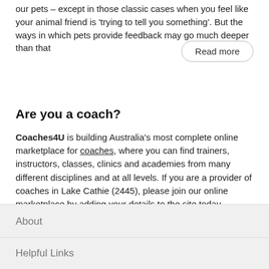our pets – except in those classic cases when you feel like your animal friend is 'trying to tell you something'. But the ways in which pets provide feedback may go much deeper than that
Read more
Are you a coach?
Coaches4U is building Australia's most complete online marketplace for coaches, where you can find trainers, instructors, classes, clinics and academies from many different disciplines and at all levels. If you are a provider of coaches in Lake Cathie (2445), please join our online marketplace by adding your details to the site today.
About
Helpful Links